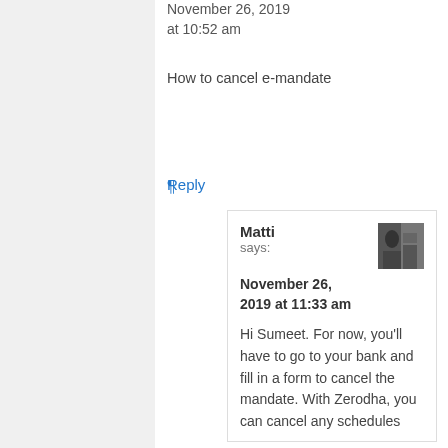November 26, 2019 at 10:52 am
How to cancel e-mandate
¶
Reply
Matti says:
November 26, 2019 at 11:33 am
Hi Sumeet. For now, you'll have to go to your bank and fill in a form to cancel the mandate. With Zerodha, you can cancel any schedules